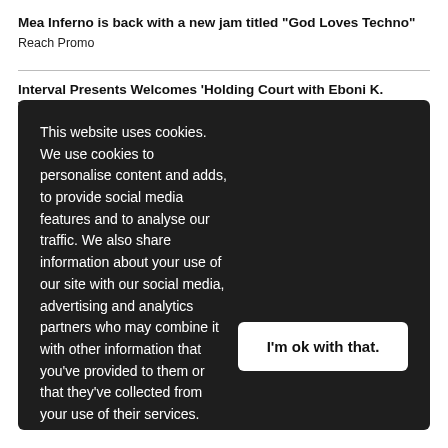Mea Inferno is back with a new jam titled "God Loves Techno"
Reach Promo
Interval Presents Welcomes 'Holding Court with Eboni K. Williams'
This website uses cookies. We use cookies to personalise content and adds, to provide social media features and to analyse our traffic. We also share information about your use of our site with our social media, advertising and analytics partners who may combine it with other information that you've provided to them or that they've collected from your use of their services. Learn more
I'm ok with that.